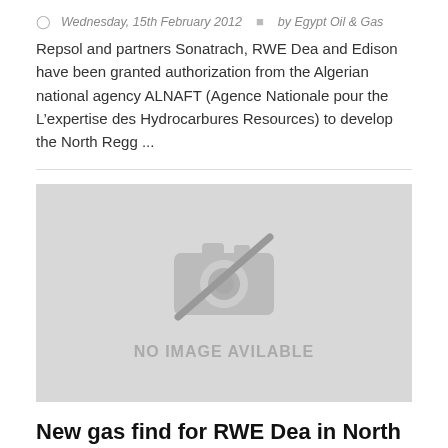Wednesday, 15th February 2012   by Egypt Oil & Gas
Repsol and partners Sonatrach, RWE Dea and Edison have been granted authorization from the Algerian national agency ALNAFT (Agence Nationale pour the L’expertise des Hydrocarbures Resources) to develop the North Regg ...
[Figure (photo): No image available placeholder with camera icon and text 'NO IMAGE AVILABLE']
New gas find for RWE Dea in North El Amriya concession